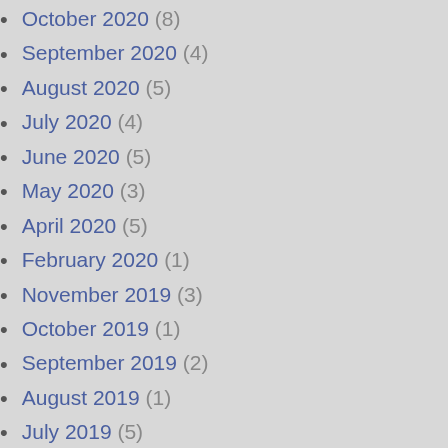October 2020 (8)
September 2020 (4)
August 2020 (5)
July 2020 (4)
June 2020 (5)
May 2020 (3)
April 2020 (5)
February 2020 (1)
November 2019 (3)
October 2019 (1)
September 2019 (2)
August 2019 (1)
July 2019 (5)
June 2019 (5)
May 2019 (5)
April 2019 (4)
March 2019 (4)
February 2019 (7)